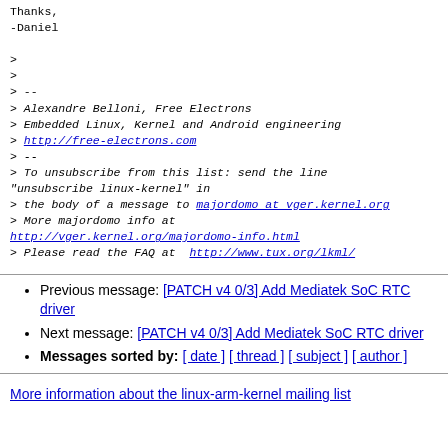Thanks,
-Daniel

>
>
> --
> Alexandre Belloni, Free Electrons
> Embedded Linux, Kernel and Android engineering
> http://free-electrons.com
> --
> To unsubscribe from this list: send the line "unsubscribe linux-kernel" in
> the body of a message to majordomo at vger.kernel.org
> More majordomo info at http://vger.kernel.org/majordomo-info.html
> Please read the FAQ at  http://www.tux.org/lkml/
Previous message: [PATCH v4 0/3] Add Mediatek SoC RTC driver
Next message: [PATCH v4 0/3] Add Mediatek SoC RTC driver
Messages sorted by: [ date ] [ thread ] [ subject ] [ author ]
More information about the linux-arm-kernel mailing list